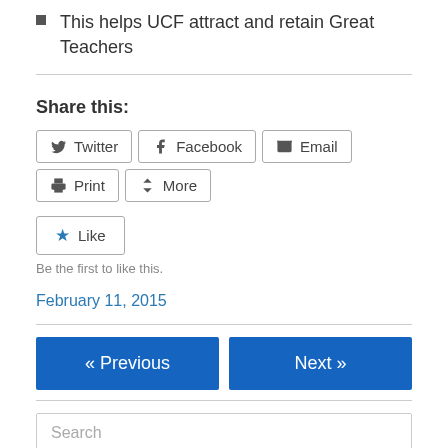This helps UCF attract and retain Great Teachers
Share this:
Twitter  Facebook  Email  Print  More
Like
Be the first to like this.
February 11, 2015
« Previous
Next »
Search